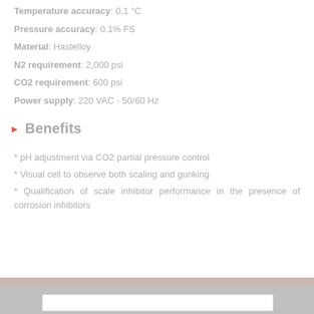Temperature accuracy: 0.1 °C
Pressure accuracy: 0.1% FS
Material: Hastelloy
N2 requirement: 2,000 psi
CO2 requirement: 600 psi
Power supply: 220 VAC - 50/60 Hz
Benefits
* pH adjustment via CO2 partial pressure control
* Visual cell to observe both scaling and gunking
* Qualification of scale inhibitor performance in the presence of corrosion inhibitors